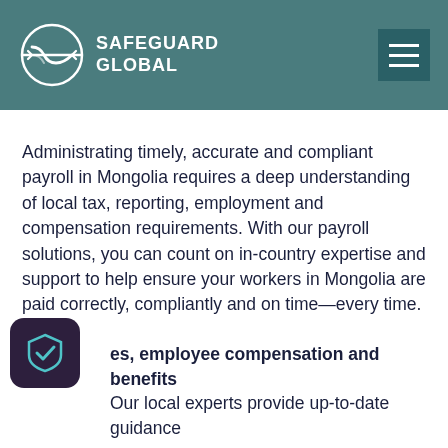SAFEGUARD GLOBAL
Administrating timely, accurate and compliant payroll in Mongolia requires a deep understanding of local tax, reporting, employment and compensation requirements. With our payroll solutions, you can count on in-country expertise and support to help ensure your workers in Mongolia are paid correctly, compliantly and on time—every time.
es, employee compensation and benefits
Our local experts provide up-to-date guidance